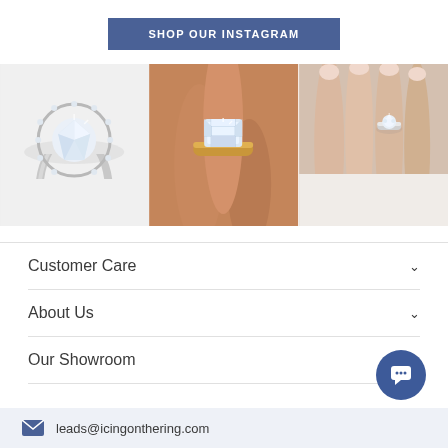SHOP OUR INSTAGRAM
[Figure (photo): Three photos of diamond engagement rings: left shows a round halo diamond ring on white background, center shows an emerald cut diamond ring in gold band held by a person's hand, right shows a diamond ring on a woman's hand against soft background.]
Customer Care
About Us
Our Showroom
leads@icingonthering.com